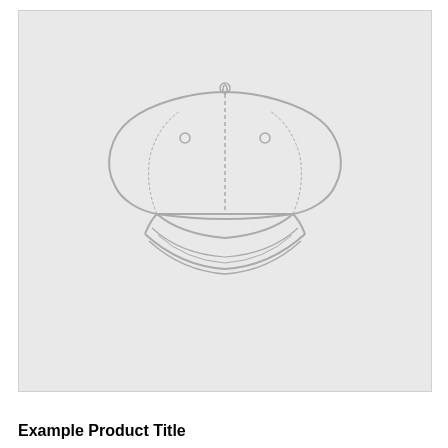[Figure (illustration): Line drawing / outline illustration of a baseball cap (front view), centered on a light gray background. The cap shows a front panel with a center seam, two eyelets, a top button, and a curved brim with stitching lines.]
Example Product Title